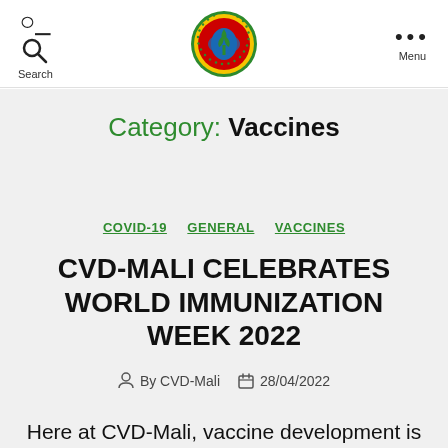Search | [CVD-Mali Logo] | Menu
Category: Vaccines
COVID-19   GENERAL   VACCINES
CVD-MALI CELEBRATES WORLD IMMUNIZATION WEEK 2022
By CVD-Mali   28/04/2022
Here at CVD-Mali, vaccine development is our